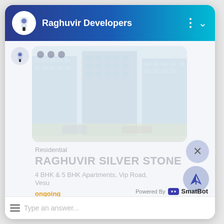Raghuvir Developers
[Figure (screenshot): Screenshot of a chatbot interface for Raghuvir Developers showing a property listing card for RAGHUVIR SILVER STONE with a building image, Residential type, 4 BHK & 5 BHK Apartments, Vip Road, Vesu, ongoing status, and a SmatBot powered input bar.]
RAGHUVIR SILVER STONE
Residential
4 BHK & 5 BHK Apartments, Vip Road, Vesu
ongoing
Type an answer...
Powered By SmatBot